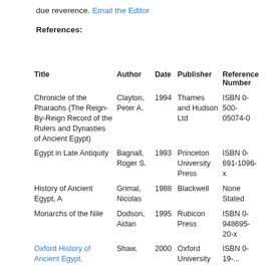due reverence. Email the Editor
References:
| Title | Author | Date | Publisher | Reference Number |
| --- | --- | --- | --- | --- |
| Chronicle of the Pharaohs (The Reign-By-Reign Record of the Rulers and Dynasties of Ancient Egypt) | Clayton, Peter A. | 1994 | Thames and Hudson Ltd | ISBN 0-500-05074-0 |
| Egypt in Late Antiquity | Bagnall, Roger S. | 1993 | Princeton University Press | ISBN 0-691-1096-x |
| History of Ancient Egypt, A | Grimal, Nicolas | 1988 | Blackwell | None Stated |
| Monarchs of the Nile | Dodson, Aidan | 1995 | Rubicon Press | ISBN 0-948695-20-x |
| Oxford History of Ancient Egypt, | Shaw, | 2000 | Oxford University | ISBN 0-19-... |